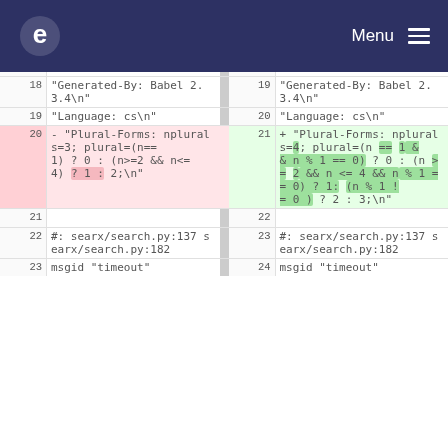e Menu
| line-old | code-old | line-new | code-new |
| --- | --- | --- | --- |
| 18 | "Generated-By: Babel 2.3.4\n" | 19 | "Generated-By: Babel 2.3.4\n" |
| 19 | "Language: cs\n" | 20 | "Language: cs\n" |
| 20 - | "Plural-Forms: nplurals=3; plural=(n==1) ? 0 : (n>=2 && n<=4) ? 1 : 2;\n" | 21 + | "Plural-Forms: nplurals=4; plural=(n == 1 && n % 1 == 0) ? 0 : (n >= 2 && n % 1 == 0) ? 1: (n % 1 != 0 ) ? 2 : 3;\n" |
| 21 |  | 22 |  |
| 22 | #: searx/search.py:137 searx/search.py:182 | 23 | #: searx/search.py:137 searx/search.py:182 |
| 23 | msgid "timeout" | 24 | msgid "timeout" |